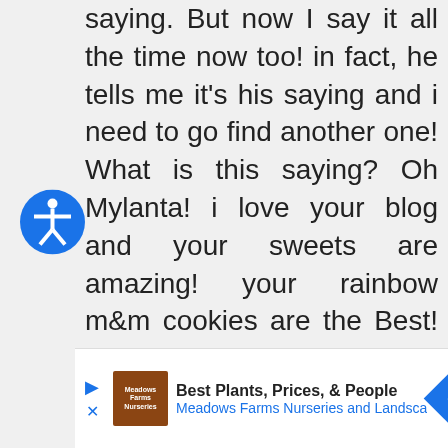saying. But now I say it all the time now too! in fact, he tells me it's his saying and i need to go find another one! What is this saying? Oh Mylanta! i love your blog and your sweets are amazing! your rainbow m&m cookies are the Best! my girls and my husband were over the moon eating them and those cookies didn't last long. I am going to make these chocolate chip cookie brownie bombs amazing 2 of the best things in 1! ok now i am rambling! my turn to
[Figure (other): Accessibility icon: blue circle with white stick figure person with arms and legs outstretched]
[Figure (other): Advertisement banner: Meadows Farms Nurseries and Landscape. Text reads 'Best Plants, Prices, & People' with logo and blue diamond arrow icon.]